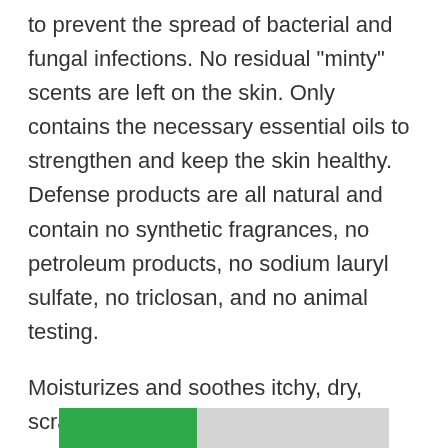to prevent the spread of bacterial and fungal infections. No residual "minty" scents are left on the skin. Only contains the necessary essential oils to strengthen and keep the skin healthy. Defense products are all natural and contain no synthetic fragrances, no petroleum products, no sodium lauryl sulfate, no triclosan, and no animal testing.
Moisturizes and soothes itchy, dry, scratchy, inflamed skin.4 way stretch material with graduated compression helps improve blood flow throughout muscles. Note that if you intentionally want the gi to shrink you can wash it in hot water and put it in the dryer.
[Figure (other): Partially visible green and gray bar/banner at the bottom of the page]